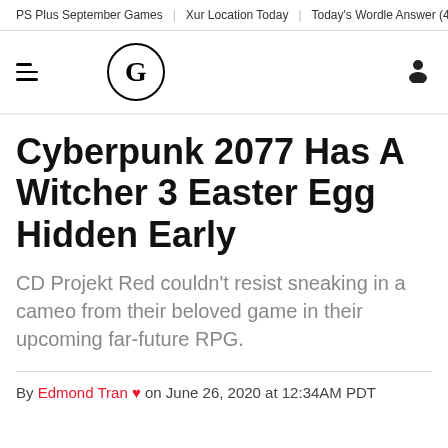PS Plus September Games | Xur Location Today | Today's Wordle Answer (440) | King's F
[Figure (logo): GameSpot logo: hamburger menu icon on the left, circular G logo in the center, user profile icon on the right]
Cyberpunk 2077 Has A Witcher 3 Easter Egg Hidden Early
CD Projekt Red couldn't resist sneaking in a cameo from their beloved game in their upcoming far-future RPG.
By Edmond Tran on June 26, 2020 at 12:34AM PDT